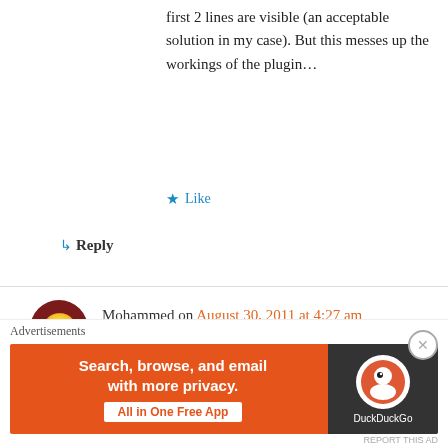first 2 lines are visible (an acceptable solution in my case). But this messes up the workings of the plugin…
Like
Reply
Mohammed on August 30, 2011 at 4:27 am
HI there,
Is there a way of apply your code to toggle divs?, so for example, when the user loads the page, these divs will apper collapsed with ellipses, and
[Figure (infographic): DuckDuckGo advertisement banner: orange background with text 'Search, browse, and email with more privacy. All in One Free App' and DuckDuckGo logo on dark right panel.]